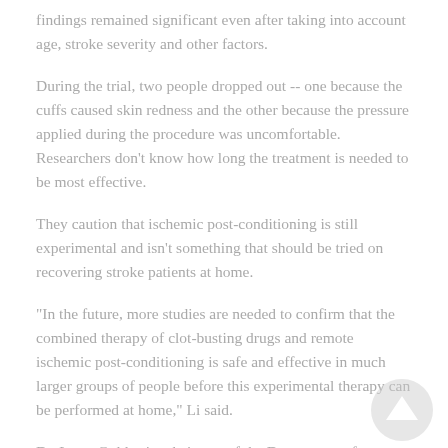findings remained significant even after taking into account age, stroke severity and other factors.
During the trial, two people dropped out -- one because the cuffs caused skin redness and the other because the pressure applied during the procedure was uncomfortable. Researchers don't know how long the treatment is needed to be most effective.
They caution that ischemic post-conditioning is still experimental and isn't something that should be tried on recovering stroke patients at home.
"In the future, more studies are needed to confirm that the combined therapy of clot-busting drugs and remote ischemic post-conditioning is safe and effective in much larger groups of people before this experimental therapy can be performed at home," Li said.
Dr. Larry Goldstein, chairman of the Department of Neurology at the University of Kentucky, reviewed the findings.